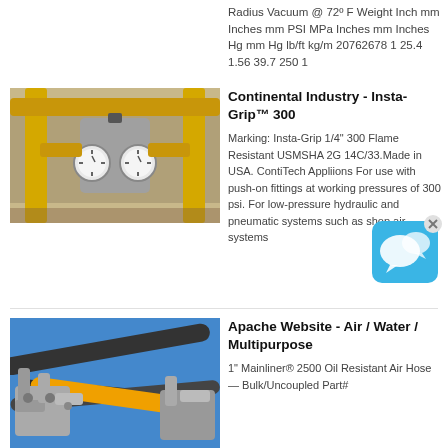Radius Vacuum @ 72° F Weight Inch mm Inches mm PSI MPa Inches mm Inches Hg mm Hg lb/ft kg/m 20762678 1 25.4 1.56 39.7 250 1
[Figure (photo): Close-up photo of brass and metal gas/pneumatic fittings with pressure gauges]
Continental Industry - Insta-Grip™ 300
Marking: Insta-Grip 1/4" 300 Flame Resistant USMSHA 2G 14C/33.Made in USA. ContiTech Appliions For use with push-on fittings at working pressures of 300 psi. For low-pressure hydraulic and pneumatic systems such as shop air systems
[Figure (photo): Industrial hoses and hydraulic fittings with yellow and gray hoses and metal connectors]
Apache Website - Air / Water / Multipurpose
1" Mainliner® 2500 Oil Resistant Air Hose — Bulk/Uncoupled Part#